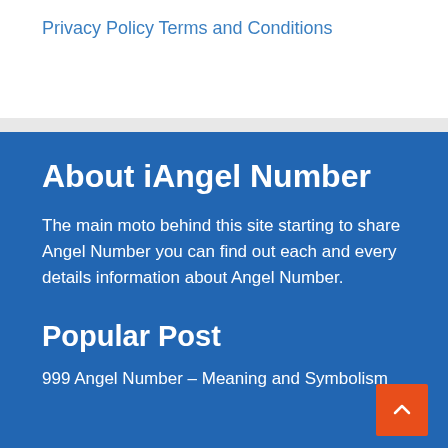Privacy Policy
Terms and Conditions
About iAngel Number
The main moto behind this site starting to share Angel Number you can find out each and every details information about Angel Number.
Popular Post
999 Angel Number – Meaning and Symbolism